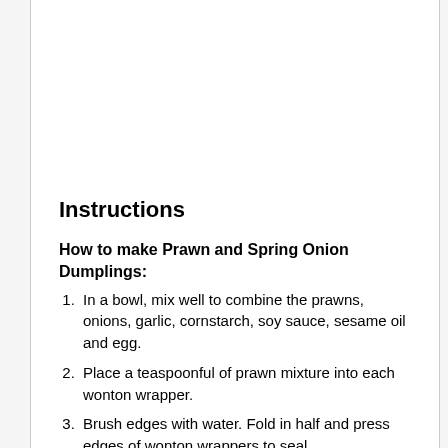Instructions
How to make Prawn and Spring Onion Dumplings:
In a bowl, mix well to combine the prawns, onions, garlic, cornstarch, soy sauce, sesame oil and egg.
Place a teaspoonful of prawn mixture into each wonton wrapper.
Brush edges with water. Fold in half and press edges of wonton wrappers to seal.
Fold edges lightly to create pleat design. Place in steamer and steam for about 8 minutes or until prawns are cooked and wrappers are tender.